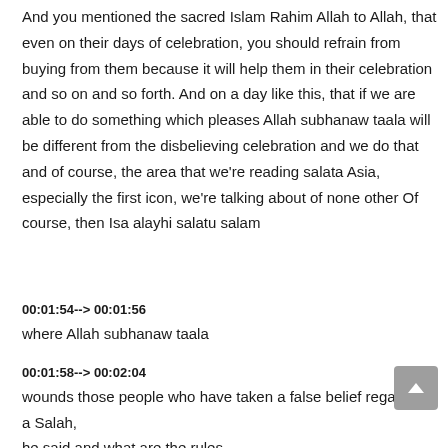And you mentioned the sacred Islam Rahim Allah to Allah, that even on their days of celebration, you should refrain from buying from them because it will help them in their celebration and so on and so forth. And on a day like this, that if we are able to do something which pleases Allah subhanaw taala will be different from the disbelieving celebration and we do that and of course, the area that we're reading salata Asia, especially the first icon, we're talking about of none other Of course, then Isa alayhi salatu salam
00:01:54--> 00:01:56
where Allah subhanaw taala
00:01:58--> 00:02:04
wounds those people who have taken a false belief regarding a Salah, he said and what are the rules